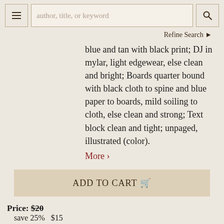author, title, or keyword | Refine Search
blue and tan with black print; DJ in mylar, light edgewear, else clean and bright; Boards quarter bound with black cloth to spine and blue paper to boards, mild soiling to cloth, else clean and strong; Text block clean and tight; unpaged, illustrated (color). More >
ADD TO CART
Price: $20
save 25%   $15
Item Details
Ask a Question
1324787